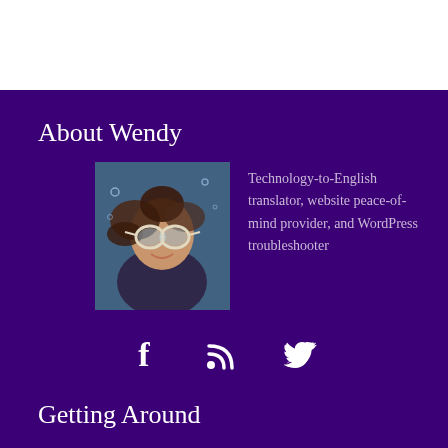About Wendy
[Figure (photo): Underwater photo of a woman wearing round swimming goggles, smiling, with hair floating around her]
Technology-to-English translator, website peace-of-mind provider, and WordPress troubleshooter
[Figure (infographic): Social media icons: Facebook (f), RSS feed, Twitter (bird)]
Getting Around